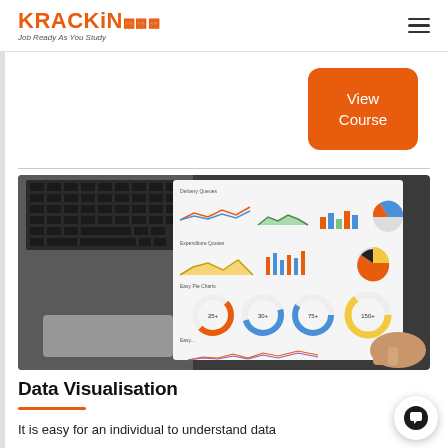KRACKiN - Job Ready As You Study
View Course
[Figure (photo): A laptop keyboard and a hand holding a white paper showing multiple data visualisation charts including line charts, bar charts, pie charts, area charts, and donut charts, placed on a dark surface.]
Data Visualisation
It is easy for an individual to understand data